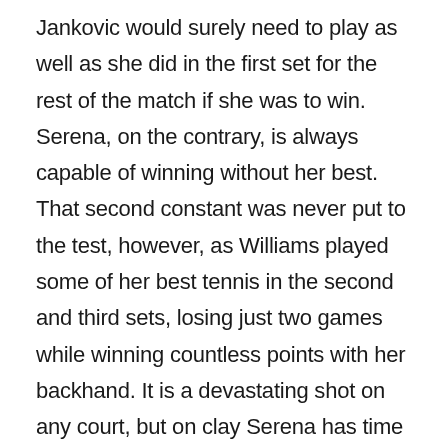Jankovic would surely need to play as well as she did in the first set for the rest of the match if she was to win. Serena, on the contrary, is always capable of winning without her best. That second constant was never put to the test, however, as Williams played some of her best tennis in the second and third sets, losing just two games while winning countless points with her backhand. It is a devastating shot on any court, but on clay Serena has time to give it both the power and direction needed to overwhelm most any foe, including the nimble Jankovic. Throughout today's match, and yesterday's against Venus, I found myself wondering why Serena hasn't enjoyed more success at Roland Garros.